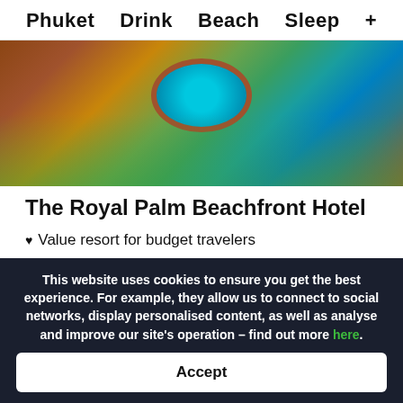Phuket   Drink   Beach   Sleep   +
[Figure (photo): Aerial view of a hotel pool deck with a round swimming pool surrounded by wooden decking, lounge chairs, and tropical plants]
The Royal Palm Beachfront Hotel
Value resort for budget travelers
Pool and jacuzzi
Beachfront location (just across the road)
15-minute walk to the nightlife in Patong
This website uses cookies to ensure you get the best experience. For example, they allow us to connect to social networks, display personalised content, as well as analyse and improve our site's operation – find out more here.
Accept